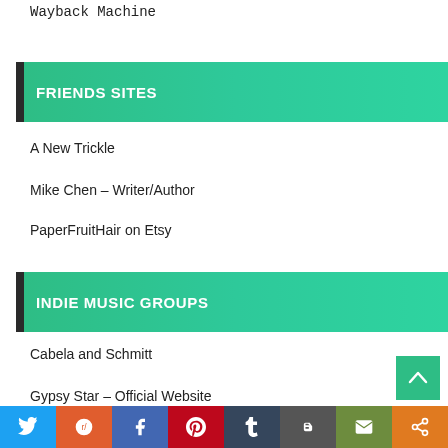Wayback Machine
FRIENDS SITES
A New Trickle
Mike Chen – Writer/Author
PaperFruitHair on Etsy
INDIE MUSIC GROUPS
Cabela and Schmitt
Gypsy Star – Official Website
Twitter | Reddit | Facebook | Pinterest | Tumblr | Blogger | Email | Share